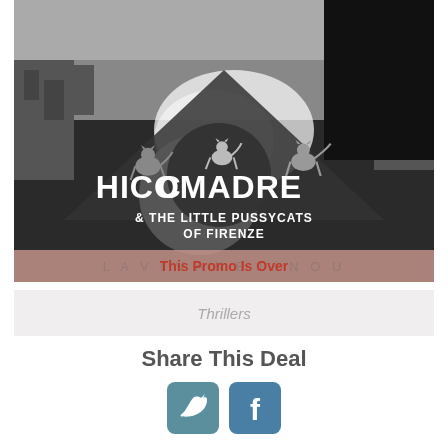[Figure (illustration): Book cover for 'Chicomadre & The Little Pussycats of Firenze' by Laviviane Jinou. Black and white image with cats and city skyline. Author's name shown on a pink banner at bottom. 'This Promo Is Over' overlay text visible.]
Thrillers
Share This Deal